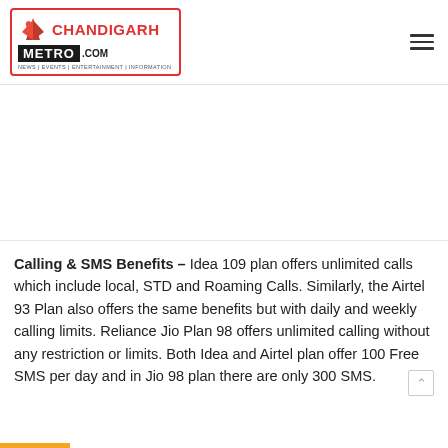[Figure (logo): ChandigarhMetro.com logo with red border, red bird icon, red CHANDIGARH text, black METRO block text, and tagline NEWS | EVENTS | ENTERTAINMENT | INFORMATION]
Calling & SMS Benefits – Idea 109 plan offers unlimited calls which include local, STD and Roaming Calls. Similarly, the Airtel 93 Plan also offers the same benefits but with daily and weekly calling limits. Reliance Jio Plan 98 offers unlimited calling without any restriction or limits. Both Idea and Airtel plan offer 100 Free SMS per day and in Jio 98 plan there are only 300 SMS.